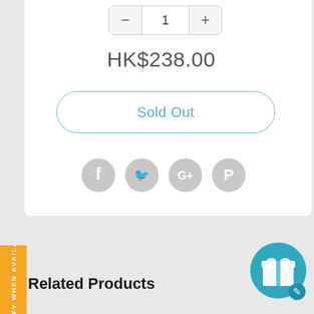HK$238.00
Sold Out
[Figure (screenshot): Social media share icons: Facebook, Twitter, Google+, Pinterest — all in light gray circular buttons]
NOTIFY WHEN AVAILABLE
Related Products
[Figure (illustration): Teal circular chat/gift button in bottom-right corner with a gift box icon]